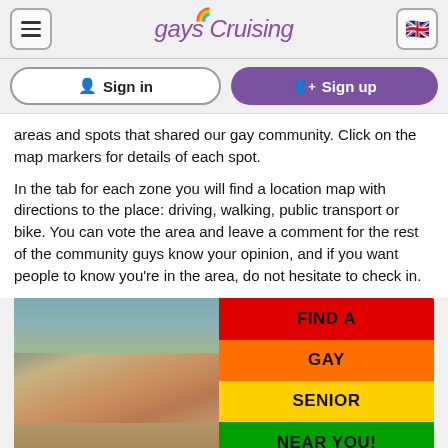gaysCruising
Sign in
Sign up
areas and spots that shared our gay community. Click on the map markers for details of each spot.
In the tab for each zone you will find a location map with directions to the place: driving, walking, public transport or bike. You can vote the area and leave a comment for the rest of the community guys know your opinion, and if you want people to know you're in the area, do not hesitate to check in.
[Figure (photo): Advertisement image split in two: left side shows a shirtless older man seated indoors, right side shows rainbow-colored stripes (red, orange, yellow, green) with bold black text reading FIND A GAY SENIOR NEAR YOU!]